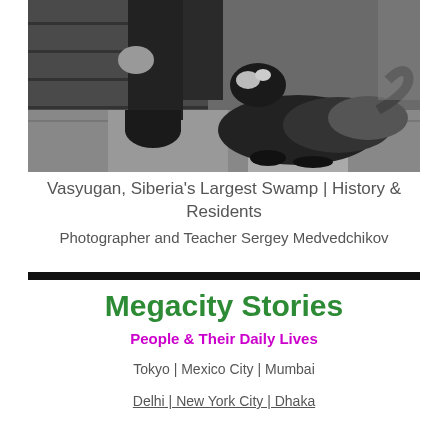[Figure (photo): Black and white photograph showing a person's legs in boots sitting on wooden steps with a dog (appears to be a sheepdog or collie-type) looking up beside them.]
Vasyugan, Siberia's Largest Swamp | History & Residents
Photographer and Teacher Sergey Medvedchikov
Megacity Stories
People & Their Daily Lives
Tokyo | Mexico City | Mumbai
Delhi | New York City | Dhaka